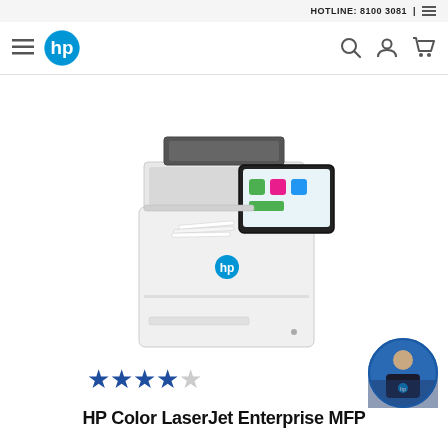HOTLINE: 8100 3081 | ☰
[Figure (logo): HP logo circle with navigation bar including hamburger menu, HP logo, search, account, and cart icons]
[Figure (photo): HP Color LaserJet Enterprise MFP printer - white multifunction laser printer with touchscreen display showing colorful app icons, document feeder on top, paper tray with paper, and HP logo on front]
[Figure (other): 4.5 star rating (4 filled blue stars and 1 empty star), with a circular avatar photo of a person in dark uniform on the right]
HP Color LaserJet Enterprise MFP